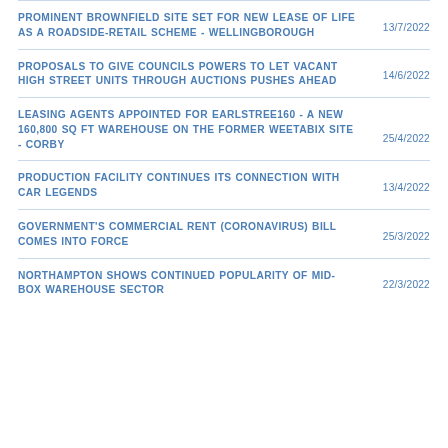PROMINENT BROWNFIELD SITE SET FOR NEW LEASE OF LIFE AS A ROADSIDE-RETAIL SCHEME - WELLINGBOROUGH  13/7/2022
PROPOSALS TO GIVE COUNCILS POWERS TO LET VACANT HIGH STREET UNITS THROUGH AUCTIONS PUSHES AHEAD  14/6/2022
LEASING AGENTS APPOINTED FOR EARLSTREE160 - A NEW 160,800 SQ FT WAREHOUSE ON THE FORMER WEETABIX SITE - CORBY  25/4/2022
PRODUCTION FACILITY CONTINUES ITS CONNECTION WITH CAR LEGENDS  13/4/2022
GOVERNMENT'S COMMERCIAL RENT (CORONAVIRUS) BILL COMES INTO FORCE  25/3/2022
NORTHAMPTON SHOWS CONTINUED POPULARITY OF MID-BOX WAREHOUSE SECTOR  22/3/2022